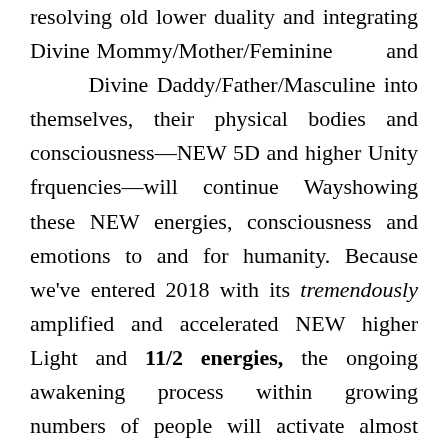resolving old lower duality and integrating Divine Mommy/Mother/Feminine and Divine Daddy/Father/Masculine into themselves, their physical bodies and consciousness—NEW 5D and higher Unity frquencies—will continue Wayshowing these NEW energies, consciousness and emotions to and for humanity. Because we've entered 2018 with its tremendously amplified and accelerated NEW higher Light and 11/2 energies, the ongoing awakening process within growing numbers of people will activate almost instantly and escalate all year. Forerunners you Know, See and Feel why this is happening but the rest of humanity doesn't, so to them it's just about not putting up with or accepting the old patriarchal negativity anymore. Them consciously knowing about the Ascension Process (AP) is not mandatory, but them quickly evolving into the NEW higher ways and HighHeart and demanding an end to the